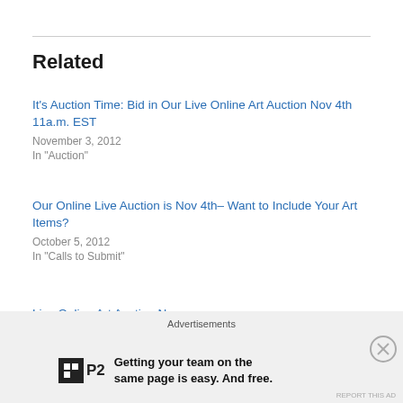Related
It's Auction Time: Bid in Our Live Online Art Auction Nov 4th 11a.m. EST
November 3, 2012
In "Auction"
Our Online Live Auction is Nov 4th– Want to Include Your Art Items?
October 5, 2012
In "Calls to Submit"
Live Online Art Auction Nov 4th!
October 15, 2012
In "art sales"
Advertisements
Getting your team on the same page is easy. And free.